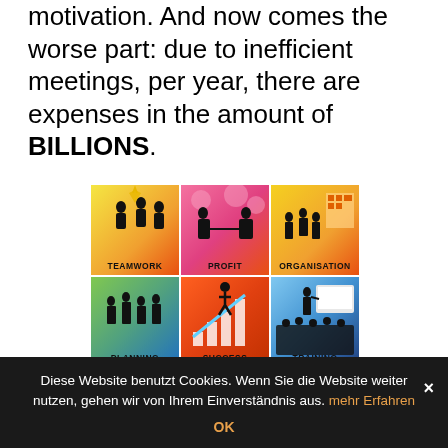motivation. And now comes the worse part: due to inefficient meetings, per year, there are expenses in the amount of BILLIONS.
[Figure (illustration): 3x3 grid of business concept icons with labels: TEAMWORK, PROFIT, ORGANISATION, PLANNING, SUCCESS, TRAINING, WORKGROUP, MEETING, NETWORKING]
But, what can be done against inefficient
Diese Website benutzt Cookies. Wenn Sie die Website weiter nutzen, gehen wir von Ihrem Einverständnis aus. mehr Erfahren
OK